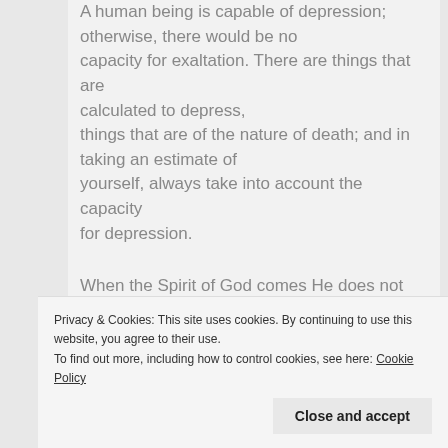A human being is capable of depression; otherwise, there would be no capacity for exaltation. There are things that are calculated to depress, things that are of the nature of death; and in taking an estimate of yourself, always take into account the capacity for depression.
When the Spirit of God comes He does not give us visions; He tells us to do the most ordinary things conceivable. Depression is apt to turn us away from the ordinary, commonplace things of God's creation.
Privacy & Cookies: This site uses cookies. By continuing to use this website, you agree to their use. To find out more, including how to control cookies, see here: Cookie Policy
Close and accept